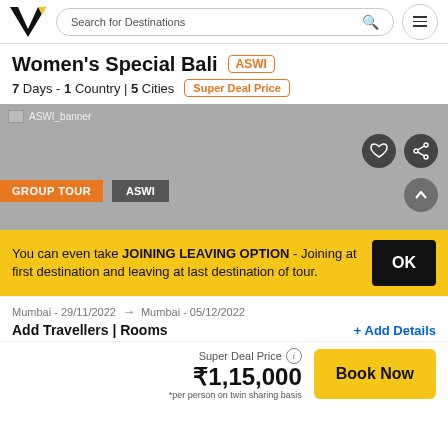[Figure (logo): Veena World logo - black V with yellow wing]
Search for Destinations
Women's Special Bali ASWI
7 Days - 1 Country | 5 Cities   Super Deal Price
[Figure (photo): ASWI_banner - gray banner image with GROUP TOUR and ASWI tags, heart and share icons]
You can even take JOINING LEAVING OPTION - Joining at first destination and leaving at last destination of tour.
Mumbai - 29/11/2022 → Mumbai - 05/12/2022
Add Travellers | Rooms   + Add Details
Super Deal Price ₹1,15,000 *per person on twin sharing basis
Book Now